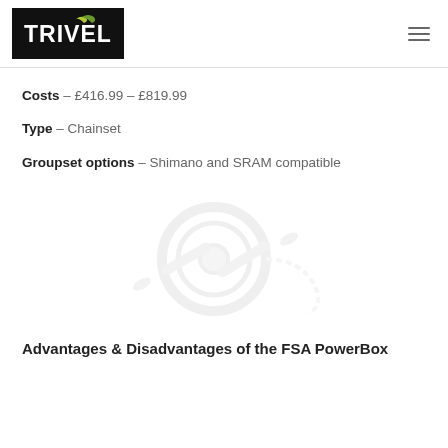TRIVELO
Costs – £416.99 – £819.99
Type – Chainset
Groupset options – Shimano and SRAM compatible
[Figure (illustration): Faint watermark-style illustration of a bicycle chainset/crankset component in light grey]
Advantages & Disadvantages of the FSA PowerBox